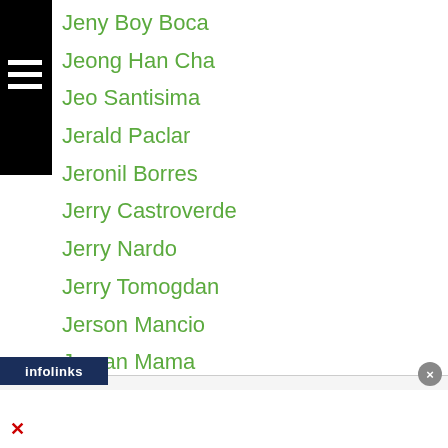Jeny Boy Boca
Jeong Han Cha
Jeo Santisima
Jerald Paclar
Jeronil Borres
Jerry Castroverde
Jerry Nardo
Jerry Tomogdan
Jerson Mancio
Jervan Mama
Jerwin Ancajas
Jeson Umbal
Jessebelle Pagaduan
Jesse Espinas
Jessel Mark Magsayo
Cris Rosales
[Figure (other): Kynix Integrated Circuits Supplier advertisement banner with orange Get Quote button]